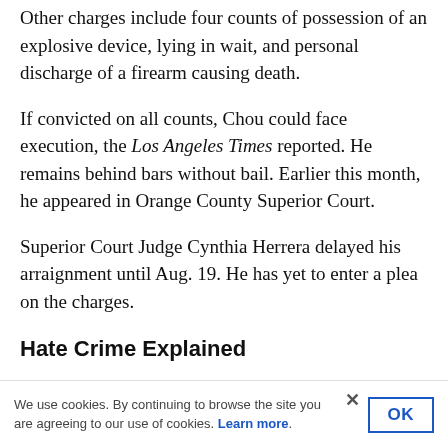Other charges include four counts of possession of an explosive device, lying in wait, and personal discharge of a firearm causing death.
If convicted on all counts, Chou could face execution, the Los Angeles Times reported. He remains behind bars without bail. Earlier this month, he appeared in Orange County Superior Court.
Superior Court Judge Cynthia Herrera delayed his arraignment until Aug. 19. He has yet to enter a plea on the charges.
Hate Crime Explained
The hate crime charges require prosecutors prove the
We use cookies. By continuing to browse the site you are agreeing to our use of cookies. Learn more.